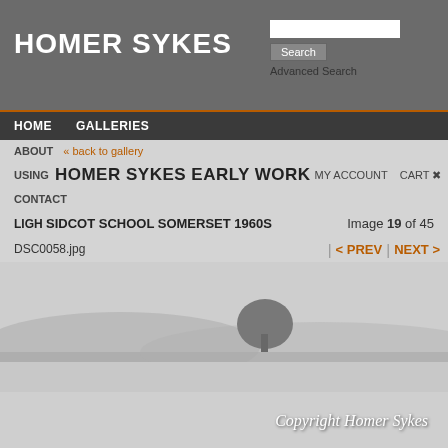HOMER SYKES
Search | Advanced Search
HOME   GALLERIES
ABOUT   « back to gallery   USING   MY ACCOUNT   CART   CONTACT   LIGHTBOXES
HOMER SYKES EARLY WORK
SIDCOT SCHOOL SOMERSET 1960S
Image 19 of 45
DSC0058.jpg
< PREV   NEXT >
[Figure (photo): Black and white photograph of a young man sitting in a field, looking to the right, with trees and countryside in the background. Copyright Homer Sykes watermark overlaid.]
Copyright Homer Sykes